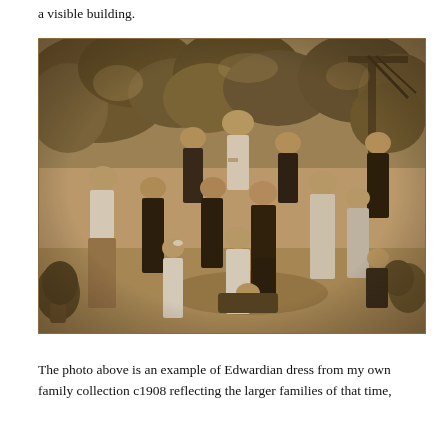a visible building.
[Figure (photo): Sepia-toned family photograph circa 1908 showing approximately 14 people of various ages, including adults and children, posed in a garden setting with dense foliage and a wooden pergola in the background. Women and girls wear white Edwardian blouses and long skirts; men and boys wear dark suits. Two young boys are seated on the ground in the foreground.]
The photo above is an example of Edwardian dress from my own family collection c1908 reflecting the larger families of that time,